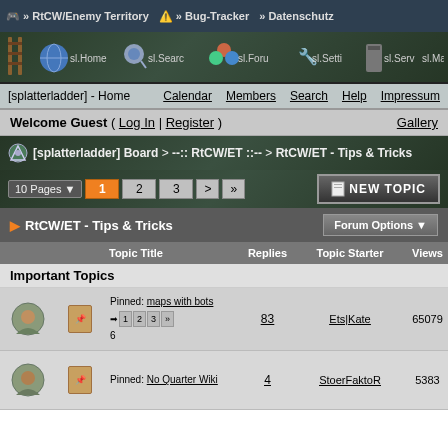» RtCW/Enemy Territory  » Bug-Tracker  » Datenschutz
[Figure (screenshot): Navigation banner with icons: sl.Home, sl.Search, sl.Forum, sl.Settings, sl.Server, sl.Map, sl.Team, sl.W...]
[splatterladder] - Home  Calendar  Members  Search  Help  Impressum
Welcome Guest ( Log In | Register )  Gallery
[splatterladder] Board > --:: RtCW/ET ::-- > RtCW/ET - Tips & Tricks
10 Pages  1 2 3 > »  NEW TOPIC
RtCW/ET - Tips & Tricks  Forum Options
| Topic Title | Replies | Topic Starter | Views | Last Action |
| --- | --- | --- | --- | --- |
| Pinned: maps with bots  1 2 3 » 6 | 83 | Ets|Kate | 65079 | 11th July 2017 06:02 PM Last post by: W Enstein |
| Pinned: No Quarter Wiki | 4 | StoerFaktoR | 5383 | 30th November - 08:33 AM Last post by:... |